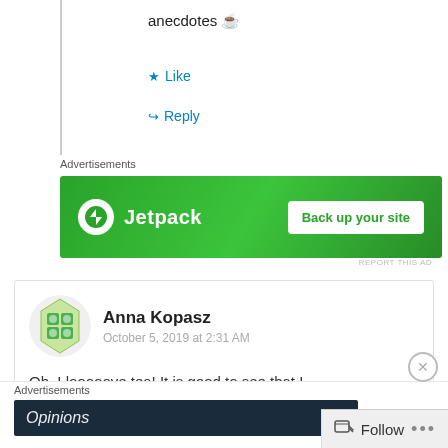anecdotes ☕
★ Like
↪ Reply
Advertisements
[Figure (screenshot): Jetpack advertisement banner with green background, Jetpack logo on the left and 'Back up your site' button on the right]
REPORT THIS AD
Anna Kopasz
October 5, 2019 at 2:31 AM
Oh, I looooove tea! It is good to see that I
Advertisements
[Figure (screenshot): Dark navy advertisement banner showing 'Opinions' text]
Follow
...